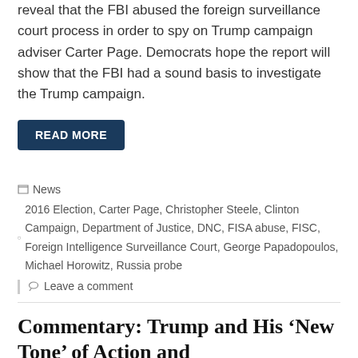reveal that the FBI abused the foreign surveillance court process in order to spy on Trump campaign adviser Carter Page. Democrats hope the report will show that the FBI had a sound basis to investigate the Trump campaign.
READ MORE
News  2016 Election, Carter Page, Christopher Steele, Clinton Campaign, Department of Justice, DNC, FISA abuse, FISC, Foreign Intelligence Surveillance Court, George Papadopoulos, Michael Horowitz, Russia probe
Leave a comment
Commentary: Trump and His 'New Tone' of Action and Accomplishment
August 19, 2019   Michigan Star Staff
[Figure (photo): Crowd photo with American flags at a rally]
One of the great difficulties in perfecting technologies like radar and sonar revolves around the problem of distinguishing